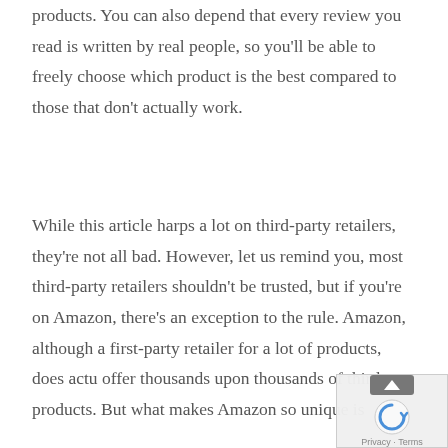products. You can also depend that every review you read is written by real people, so you'll be able to freely choose which product is the best compared to those that don't actually work.
While this article harps a lot on third-party retailers, they're not all bad. However, let us remind you, most third-party retailers shouldn't be trusted, but if you're on Amazon, there's an exception to the rule. Amazon, although a first-party retailer for a lot of products, does actu offer thousands upon thousands of third-par products. But what makes Amazon so unique is